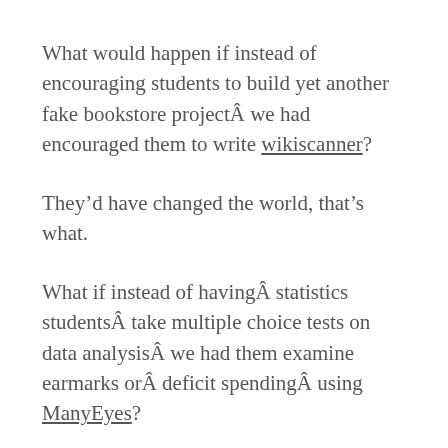What would happen if instead of encouraging students to build yet another fake bookstore projectÂ we had encouraged them to write wikiscanner?
They'd have changed the world, that's what.
What if instead of havingÂ statistics studentsÂ take multiple choice tests on data analysisÂ we had them examine earmarks orÂ deficit spendingÂ using ManyEyes?